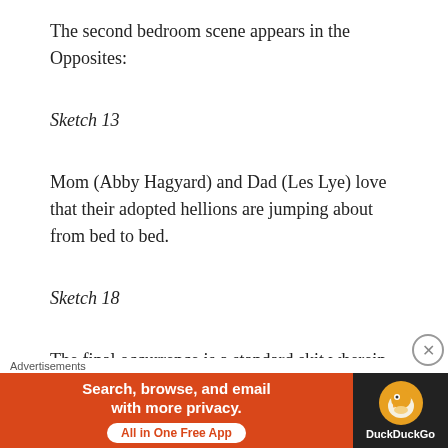The second bedroom scene appears in the Opposites:
Sketch 13
Mom (Abby Hagyard) and Dad (Les Lye) love that their adopted hellions are jumping about from bed to bed.
Sketch 18
The final occurrence is a standard skit wherein Amyas dreamed I was adopted by a mother
Advertisements
[Figure (other): DuckDuckGo advertisement banner: orange left panel with text 'Search, browse, and email with more privacy. All in One Free App' and dark right panel with DuckDuckGo duck logo]